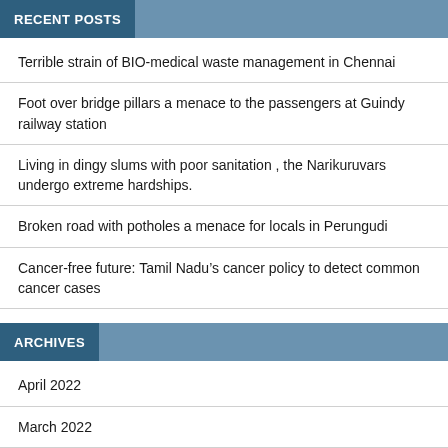RECENT POSTS
Terrible strain of BIO-medical waste management in Chennai
Foot over bridge pillars a menace to the passengers at Guindy railway station
Living in dingy slums with poor sanitation , the Narikuruvars undergo extreme hardships.
Broken road with potholes a menace for locals in Perungudi
Cancer-free future: Tamil Nadu’s cancer policy to detect common cancer cases
ARCHIVES
April 2022
March 2022
February 2022